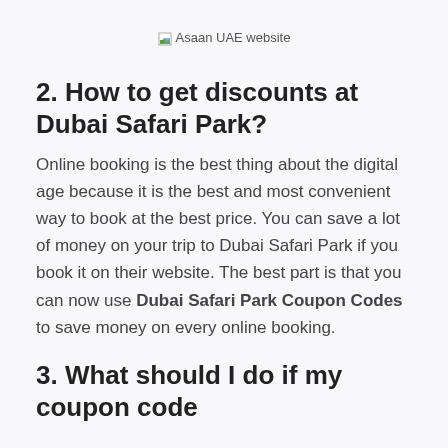[Figure (other): Broken image placeholder labeled 'Asaan UAE website']
2. How to get discounts at Dubai Safari Park?
Online booking is the best thing about the digital age because it is the best and most convenient way to book at the best price. You can save a lot of money on your trip to Dubai Safari Park if you book it on their website. The best part is that you can now use Dubai Safari Park Coupon Codes to save money on every online booking.
3. What should I do if my coupon code for Dubai Safari Park doesn't work?